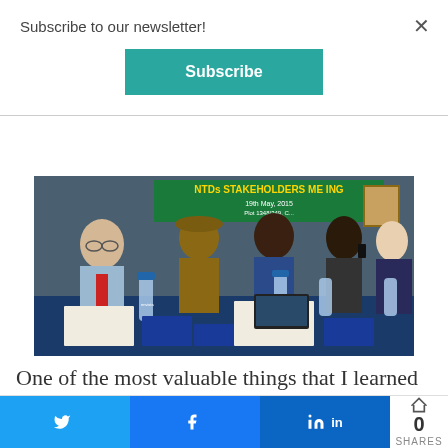Subscribe to our newsletter!
Subscribe
[Figure (photo): Group of people seated at a conference table at an NTDs Stakeholders Meeting, 19th May, 2015. Banner visible in background.]
One of the most valuable things that I learned from the stakeholders meeting is that there are a number of very dedicated
Twitter share button
Facebook share button
LinkedIn share button
0 SHARES